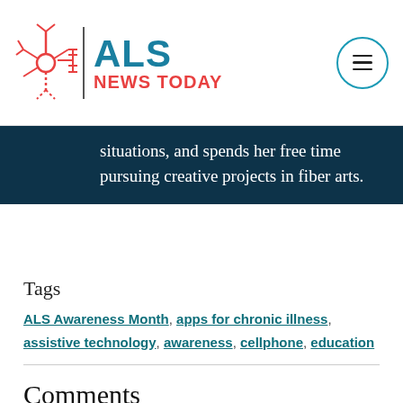ALS News Today
situations, and spends her free time pursuing creative projects in fiber arts.
Tags
ALS Awareness Month, apps for chronic illness, assistive technology, awareness, cellphone, education
Comments
Leave a comment
Fill in the required fields to post. Your email